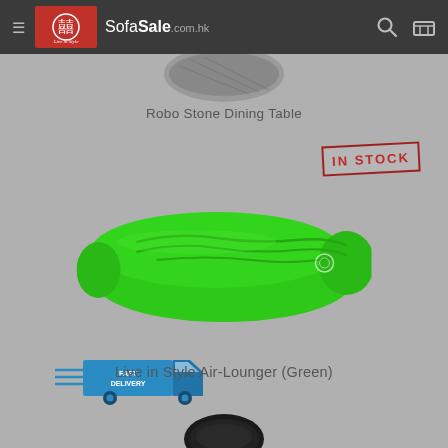SofaSale.com.hk
Robo Stone Dining Table
[Figure (photo): Green inflatable air-lounger/sofa with 'IN STOCK' stamp badge in upper right and 'FAST DELIVERY' truck badge below]
Live in Style Air-Lounger (Green)
[Figure (photo): Partial view of a black office/dining chair headrest at bottom of page]